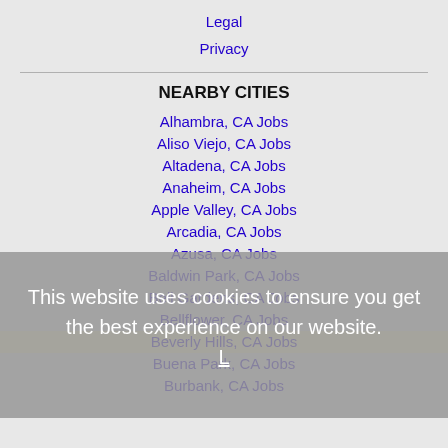Legal
Privacy
NEARBY CITIES
Alhambra, CA Jobs
Aliso Viejo, CA Jobs
Altadena, CA Jobs
Anaheim, CA Jobs
Apple Valley, CA Jobs
Arcadia, CA Jobs
Azusa, CA Jobs
Baldwin Park, CA Jobs
Bell Gardens, CA Jobs
Bellflower, CA Jobs
Beverly Hills, CA Jobs
Buena Park, CA Jobs
Burbank, CA Jobs
This website uses cookies to ensure you get the best experience on our website.